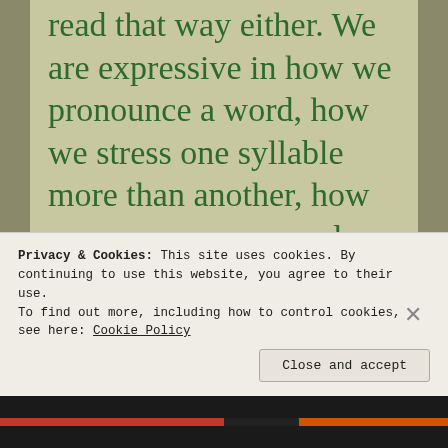read that way either. We are expressive in how we pronounce a word, how we stress one syllable more than another, how we pronounce a word differently than someone
Privacy & Cookies: This site uses cookies. By continuing to use this website, you agree to their use.
To find out more, including how to control cookies, see here: Cookie Policy
Close and accept